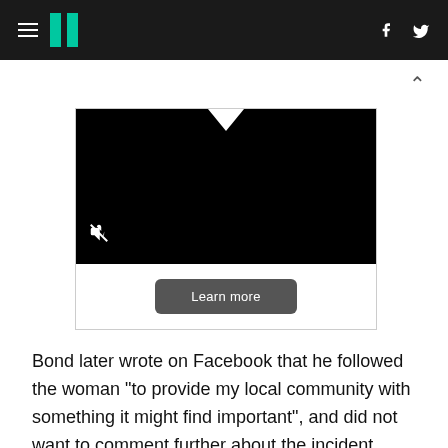HuffPost navigation header with hamburger menu, logo, Facebook and Twitter icons
[Figure (screenshot): Embedded video player showing a black video frame with a notch cutout at top center, a mute icon in the lower left, and a 'Learn more' button below on a white background]
Bond later wrote on Facebook that he followed the woman "to provide my local community with something it might find important", and did not want to comment further about the incident.